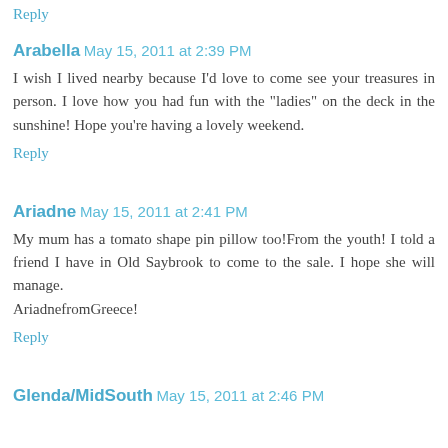Reply
Arabella  May 15, 2011 at 2:39 PM
I wish I lived nearby because I'd love to come see your treasures in person. I love how you had fun with the "ladies" on the deck in the sunshine! Hope you're having a lovely weekend.
Reply
Ariadne  May 15, 2011 at 2:41 PM
My mum has a tomato shape pin pillow too!From the youth! I told a friend I have in Old Saybrook to come to the sale. I hope she will manage.
AriadnefromGreece!
Reply
Glenda/MidSouth  May 15, 2011 at 2:46 PM